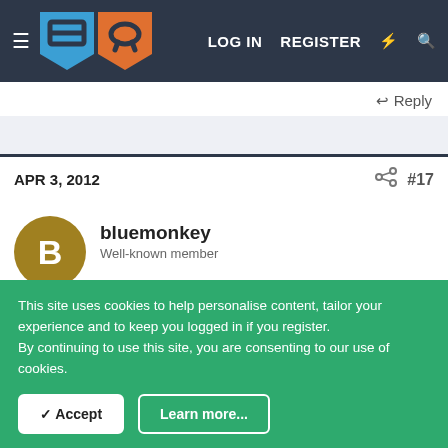LOG IN  REGISTER
Reply
APR 3, 2012  #17
bluemonkey
Well-known member
i live in cornwall, and am on meter so i get charged more
This site uses cookies to help personalise content, tailor your experience and to keep you logged in if you register.
By continuing to use this site, you are consenting to our use of cookies.
Accept  Learn more...